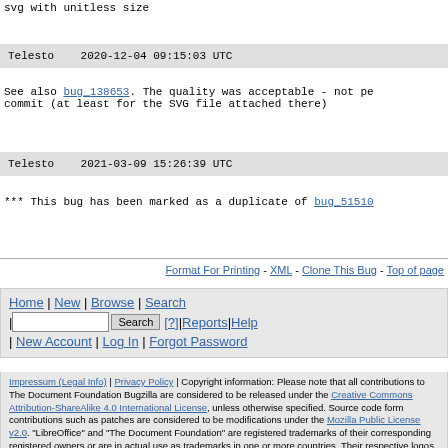svg with unitless size
Telesto   2020-12-04 09:15:03 UTC
See also bug_138653. The quality was acceptable - not pe commit (at least for the SVG file attached there)
Telesto   2021-03-09 15:26:39 UTC
*** This bug has been marked as a duplicate of bug_51510
Format For Printing - XML - Clone This Bug - Top of page
Home | New | Browse | Search | [search box] Search [?] | Reports | Help | New Account | Log In | Forgot Password
Impressum (Legal Info) | Privacy Policy | Copyright information: Please note that all contributions to The Document Foundation Bugzilla are considered to be released under the Creative Commons Attribution-ShareAlike 4.0 International License, unless otherwise specified. Source code form contributions such as patches are considered to be modifications under the Mozilla Public License v2.0. "LibreOffice" and "The Document Foundation" are registered trademarks of their corresponding registered owners or are in actual use as trademarks in one or more countries. Their respective logos and icons are also subject to international copyright laws. Use thereof is explained in our trademark policy.